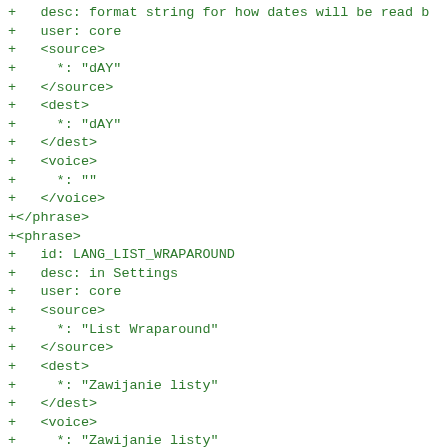+   desc: format string for how dates will be read b
+   user: core
+   <source>
+     *: "dAY"
+   </source>
+   <dest>
+     *: "dAY"
+   </dest>
+   <voice>
+     *: ""
+   </voice>
+</phrase>
+<phrase>
+   id: LANG_LIST_WRAPAROUND
+   desc: in Settings
+   user: core
+   <source>
+     *: "List Wraparound"
+   </source>
+   <dest>
+     *: "Zawijanie listy"
+   </dest>
+   <voice>
+     *: "Zawijanie listy"
+   </voice>
+</phrase>
+<phrase>
+   id: LANG_SHOW_SHUTDOWN_MESSAGE
+   desc: in Settings
+   user: core